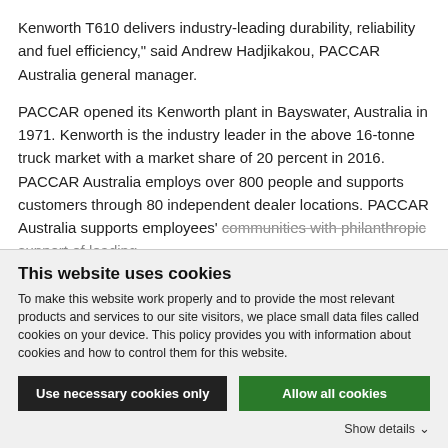Kenworth T610 delivers industry-leading durability, reliability and fuel efficiency," said Andrew Hadjikakou, PACCAR Australia general manager.
PACCAR opened its Kenworth plant in Bayswater, Australia in 1971. Kenworth is the industry leader in the above 16-tonne truck market with a market share of 20 percent in 2016. PACCAR Australia employs over 800 people and supports customers through 80 independent dealer locations. PACCAR Australia supports employees' communities with philanthropic support of leading...
This website uses cookies
To make this website work properly and to provide the most relevant products and services to our site visitors, we place small data files called cookies on your device. This policy provides you with information about cookies and how to control them for this website.
Use necessary cookies only
Allow all cookies
Show details